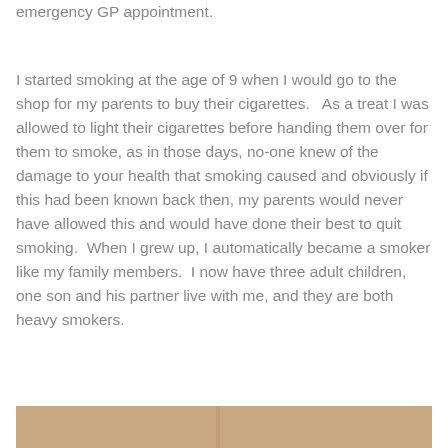emergency GP appointment.
I started smoking at the age of 9 when I would go to the shop for my parents to buy their cigarettes.   As a treat I was allowed to light their cigarettes before handing them over for them to smoke, as in those days, no-one knew of the damage to your health that smoking caused and obviously if this had been known back then, my parents would never have allowed this and would have done their best to quit smoking.  When I grew up, I automatically became a smoker like my family members.  I now have three adult children, one son and his partner live with me, and they are both heavy smokers.
[Figure (photo): Partial view of a photo at the bottom of the page, showing a warm brownish-orange toned image, partially cropped.]